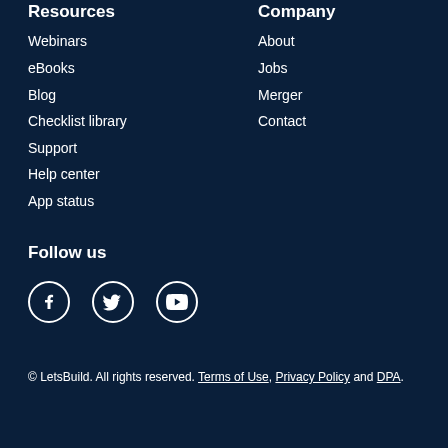Resources
Webinars
eBooks
Blog
Checklist library
Support
Help center
App status
Company
About
Jobs
Merger
Contact
Follow us
[Figure (illustration): Social media icons: Facebook, Twitter, YouTube]
© LetsBuild. All rights reserved. Terms of Use, Privacy Policy and DPA.